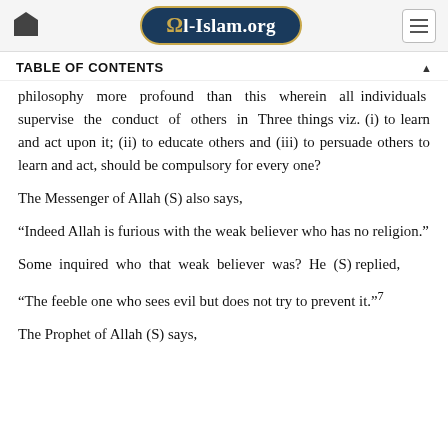Al-Islam.org
TABLE OF CONTENTS
philosophy more profound than this wherein all individuals supervise the conduct of others in Three things viz. (i) to learn and act upon it; (ii) to educate others and (iii) to persuade others to learn and act, should be compulsory for every one?
The Messenger of Allah (S) also says,
“Indeed Allah is furious with the weak believer who has no religion.”
Some inquired who that weak believer was? He (S) replied,
“The feeble one who sees evil but does not try to prevent it.”⁷
The Prophet of Allah (S) says,